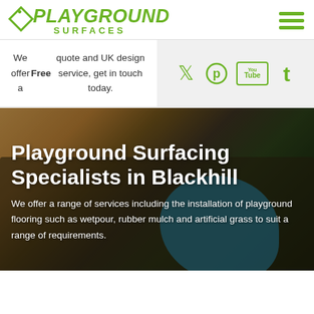[Figure (logo): Playground Surfaces logo with green diamond pin icon and green bold italic text PLAYGROUND SURFACES]
[Figure (infographic): Hamburger menu icon with three green horizontal bars]
We offer a Free quote and UK design service, get in touch today.
[Figure (infographic): Social media icons for Twitter, Pinterest, YouTube, and Tumblr in green on grey background]
[Figure (photo): Playground surfacing photo showing rubber surfacing in orange/tan and blue colors with wooden structures in background, overlaid with dark semi-transparent panel containing white text]
Playground Surfacing Specialists in Blackhill
We offer a range of services including the installation of playground flooring such as wetpour, rubber mulch and artificial grass to suit a range of requirements.